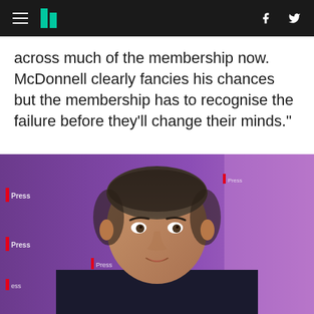HuffPost UK header with hamburger menu, logo, f and Twitter icons
across much of the membership now. McDonnell clearly fancies his chances but the membership has to recognise the failure before they'll change their minds."
[Figure (photo): A man in a dark suit speaking at a press conference with a purple background featuring red and white press logos]